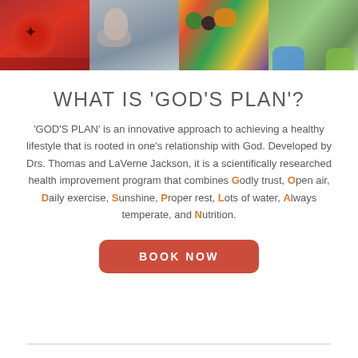[Figure (photo): Four-panel photo strip: red drink with star anise, woman with hands on face, colorful fruits (kiwi, berries, citrus), person in athletic shoes on grass]
WHAT IS 'GOD'S PLAN'?
'GOD'S PLAN' is an innovative approach to achieving a healthy lifestyle that is rooted in one's relationship with God. Developed by Drs. Thomas and LaVerne Jackson, it is a scientifically researched health improvement program that combines Godly trust, Open air, Daily exercise, Sunshine, Proper rest, Lots of water, Always temperate, and Nutrition.
BOOK NOW